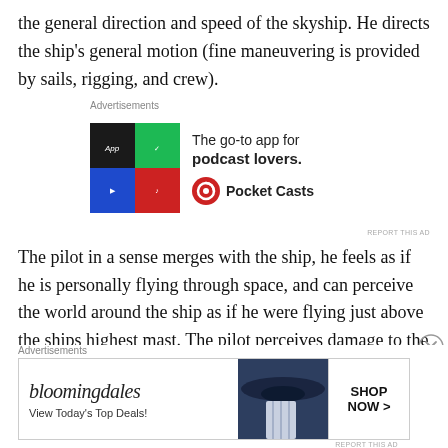the general direction and speed of the skyship. He directs the ship's general motion (fine maneuvering is provided by sails, rigging, and crew).
[Figure (infographic): Pocket Casts advertisement: colorful app icon grid on left, tagline 'The go-to app for podcast lovers.' with Pocket Casts logo on right.]
The pilot in a sense merges with the ship, he feels as if he is personally flying through space, and can perceive the world around the ship as if he were flying just above the ships highest mast. The pilot perceives damage to the ship as white flashes of pain, but takes no actual, personal damage in most cases. Sometimes, however, the pain is
[Figure (infographic): Bloomingdale's advertisement: logo, tagline 'View Today's Top Deals!', woman with wide-brim hat, and 'SHOP NOW >' button.]